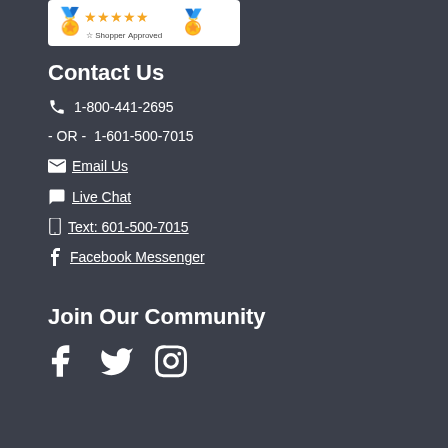[Figure (logo): Shopper Approved 5-star badge with laurel wreath and orange stars]
Contact Us
1-800-441-2695
- OR -  1-601-500-7015
Email Us
Live Chat
Text: 601-500-7015
Facebook Messenger
Join Our Community
[Figure (illustration): Social media icons: Facebook, Twitter, Instagram]